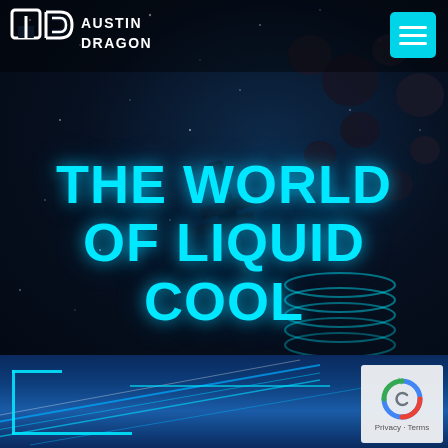[Figure (illustration): Website screenshot/banner for 'Austin Dragon - The World of Liquid Cool'. Dark space background with asteroids, futuristic spacecraft or mechanical elements, and glowing cyan rings. Bottom section shows blue diagonal light streaks. Austin Dragon logo (AD letters) in top left, hamburger menu button in top right, large cyan text title in center, reCAPTCHA badge bottom right.]
THE WORLD OF LIQUID COOL